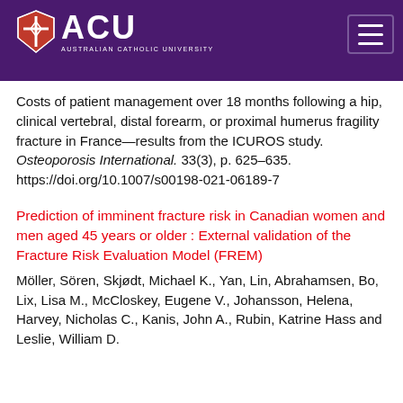[Figure (logo): Australian Catholic University (ACU) logo with shield emblem and hamburger menu button on purple header bar]
Costs of patient management over 18 months following a hip, clinical vertebral, distal forearm, or proximal humerus fragility fracture in France—results from the ICUROS study. Osteoporosis International. 33(3), p. 625–635. https://doi.org/10.1007/s00198-021-06189-7
Prediction of imminent fracture risk in Canadian women and men aged 45 years or older : External validation of the Fracture Risk Evaluation Model (FREM)
Möller, Sören, Skjødt, Michael K., Yan, Lin, Abrahamsen, Bo, Lix, Lisa M., McCloskey, Eugene V., Johansson, Helena, Harvey, Nicholas C., Kanis, John A., Rubin, Katrine Hass and Leslie, William D.